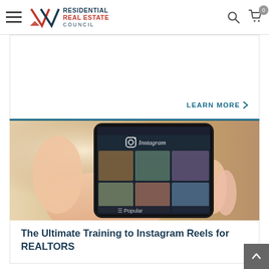Residential Real Estate Council
LEARN MORE
[Figure (photo): A hand holding a smartphone displaying the Instagram app with the Instagram logo and photo grid visible, with a blurred outdoor background.]
The Ultimate Training to Instagram Reels for REALTORS
LEARN MORE